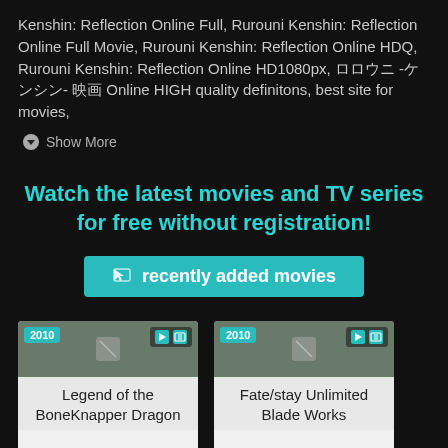Kenshin: Reflection Online Full, Rurouni Kenshin: Reflection Online Full Movie, Rurouni Kenshin: Reflection Online HDQ, Rurouni Kenshin: Reflection Online HD1080px, ロロウニ -ケンシン- 映画 Online HIGH quality definitons, best site for movies,
Show More
Watch the latest movies and TV series for free without registration!
recently added movies
[Figure (screenshot): Movie card for 'Legend of the BoneKnapper Dragon' (2010) with year badge, media icons, and title]
[Figure (screenshot): Movie card for 'Fate/stay Unlimited Blade Works' (2010) with year badge, media icons, and title]